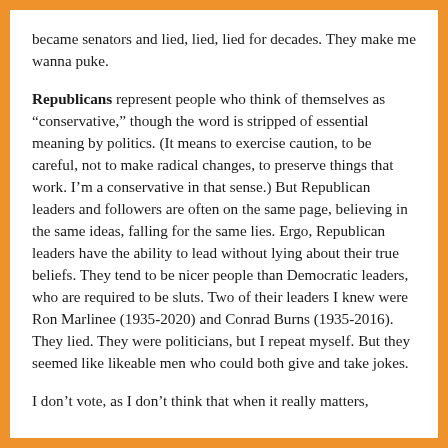became senators and lied, lied, lied for decades. They make me wanna puke.
Republicans represent people who think of themselves as “conservative,” though the word is stripped of essential meaning by politics. (It means to exercise caution, to be careful, not to make radical changes, to preserve things that work. I’m a conservative in that sense.) But Republican leaders and followers are often on the same page, believing in the same ideas, falling for the same lies. Ergo, Republican leaders have the ability to lead without lying about their true beliefs. They tend to be nicer people than Democratic leaders, who are required to be sluts. Two of their leaders I knew were Ron Marlinee (1935-2020) and Conrad Burns (1935-2016). They lied. They were politicians, but I repeat myself. But they seemed like likeable men who could both give and take jokes.
I don’t vote, as I don’t think that when it really matters,